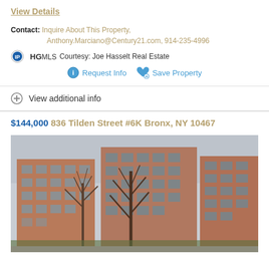View Details
Contact: Inquire About This Property, Anthony.Marciano@Century21.com, 914-235-4996
HGMLS Courtesy: Joe Hasselt Real Estate
Request Info   Save Property
View additional info
$144,000  836 Tilden Street #6K Bronx, NY 10467
[Figure (photo): Exterior photo of a multi-story brick apartment building in the Bronx with bare trees in front, overcast sky.]